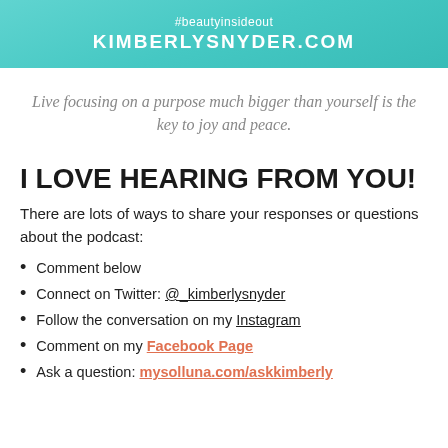#beautyinsideout
KIMBERLYSNYDER.COM
Live focusing on a purpose much bigger than yourself is the key to joy and peace.
I LOVE HEARING FROM YOU!
There are lots of ways to share your responses or questions about the podcast:
Comment below
Connect on Twitter: @_kimberlysnyder
Follow the conversation on my Instagram
Comment on my Facebook Page
Ask a question: mysolluna.com/askkimberly